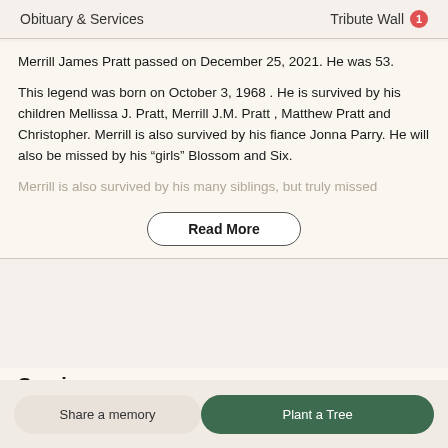Obituary & Services    Tribute Wall 1
Merrill James Pratt passed on December 25, 2021. He was 53.
This legend was born on October 3, 1968 . He is survived by his children Mellissa J. Pratt, Merrill J.M. Pratt , Matthew Pratt and Christopher. Merrill is also survived by his fiance Jonna Parry. He will also be missed by his “girls” Blossom and Six.
Merrill is also survived by his many siblings, but truly missed
Read More
Services
Share a memory
Plant a Tree